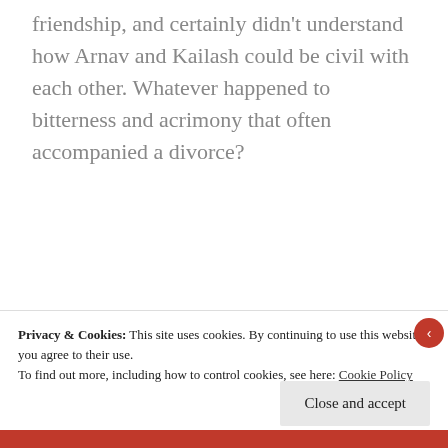friendship, and certainly didn't understand how Arnav and Kailash could be civil with each other. Whatever happened to bitterness and acrimony that often accompanied a divorce?
[Figure (other): Longreads advertisement banner with red background, circular logo with 'L', and tagline: The best stories on the web – ours, and everyone else's.]
Privacy & Cookies: This site uses cookies. By continuing to use this website, you agree to their use.
To find out more, including how to control cookies, see here: Cookie Policy